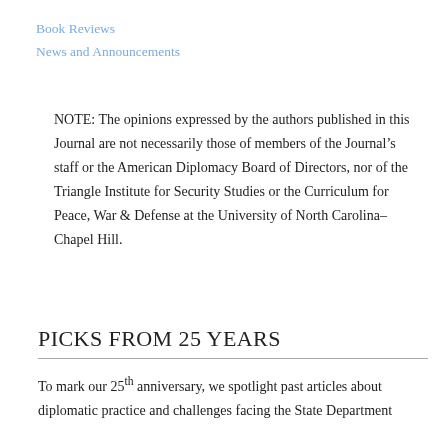Book Reviews
News and Announcements
NOTE: The opinions expressed by the authors published in this Journal are not necessarily those of members of the Journal’s staff or the American Diplomacy Board of Directors, nor of the Triangle Institute for Security Studies or the Curriculum for Peace, War & Defense at the University of North Carolina–Chapel Hill.
PICKS FROM 25 YEARS
To mark our 25th anniversary, we spotlight past articles about diplomatic practice and challenges facing the State Department